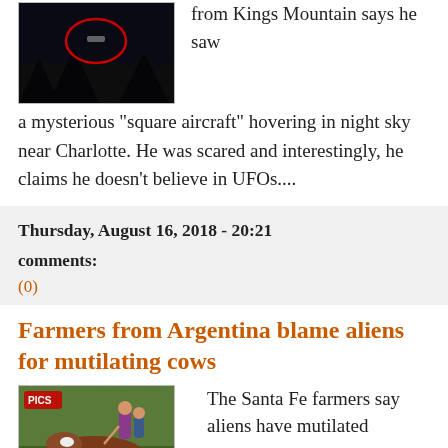[Figure (photo): Night sky photo with a red circle highlighting an unidentified object]
from Kings Mountain says he saw a mysterious "square aircraft" hovering in night sky near Charlotte. He was scared and interestingly, he claims he doesn't believe in UFOs....
Thursday, August 16, 2018 - 20:21
comments:
(0)
Farmers from Argentina blame aliens for mutilating cows
[Figure (photo): Photo of farmers examining a mutilated cow on the ground]
The Santa Fe farmers say aliens have mutilated seven cows. The animals were found without some parts of